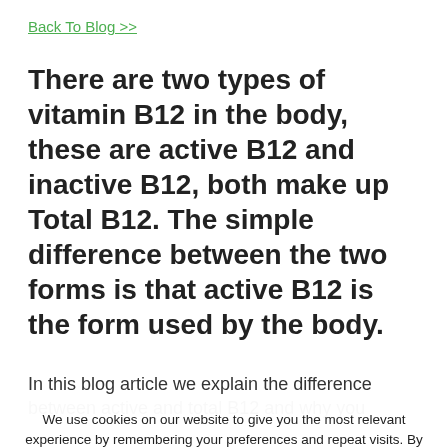Back To Blog >>
There are two types of vitamin B12 in the body, these are active B12 and inactive B12, both make up Total B12. The simple difference between the two forms is that active B12 is the form used by the body.
In this blog article we explain the difference between active and total B12 and why you
We use cookies on our website to give you the most relevant experience by remembering your preferences and repeat visits. By clicking "Accept", you consent to the use of ALL the cookies. However you may visit Cookie Settings to provide a controlled consent.
Read More
ACCEPT